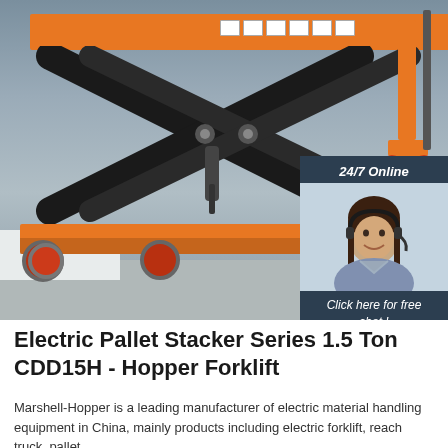[Figure (photo): Orange and black electric scissor lift pallet stacker table (CDD15H) shown elevated, with red-wheeled orange base frame on a concrete floor. A smaller orange forklift/stacker is partially visible in the background on the right. Snow visible on the left side background. An overlay chat widget on the right side shows '24/7 Online', a female customer service agent wearing a headset, 'Click here for free chat!' text, and an orange 'QUOTATION' button.]
Electric Pallet Stacker Series 1.5 Ton CDD15H - Hopper Forklift
Marshell-Hopper is a leading manufacturer of electric material handling equipment in China, mainly products including electric forklift, reach truck, pallet